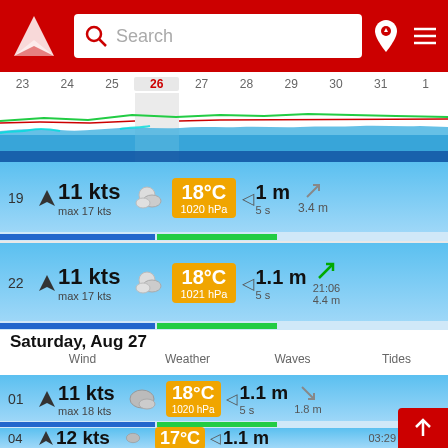[Figure (screenshot): Windy.app navigation header with logo, search bar, and icons on red background]
[Figure (line-chart): Weather forecast calendar strip showing dates 23-1 with wind/wave chart area, date 26 highlighted]
19  11 kts  max 17 kts  18°C  1020 hPa  1 m  5 s  3.4 m
22  11 kts  max 17 kts  18°C  1021 hPa  1.1 m  5 s  21:06  4.4 m
Saturday, Aug 27
Wind  Weather  Waves  Tides
01  11 kts  max 18 kts  18°C  1020 hPa  1.1 m  5 s  1.8 m
04  12 kts  17°C  1.1 m  03:29